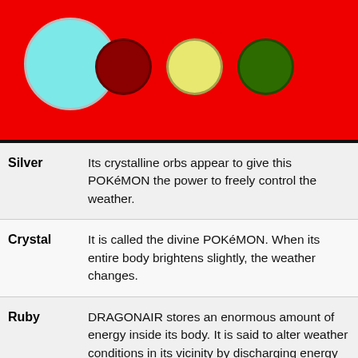[Figure (illustration): Red header banner with a large teal/cyan circle on the left and three colored circles (dark red, yellow-green, dark green) on the right]
| Game | Entry |
| --- | --- |
| Silver | Its crystalline orbs appear to give this POKéMON the power to freely control the weather. |
| Crystal | It is called the divine POKéMON. When its entire body brightens slightly, the weather changes. |
| Ruby | DRAGONAIR stores an enormous amount of energy inside its body. It is said to alter weather conditions in its vicinity by discharging energy from the crystals on its neck and tail. |
| Sapphire | DRAGONAIR stores an enormous amount of |